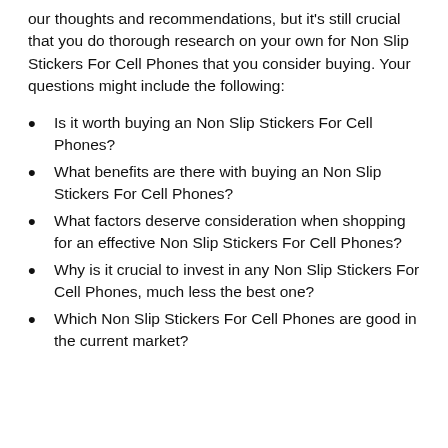our thoughts and recommendations, but it's still crucial that you do thorough research on your own for Non Slip Stickers For Cell Phones that you consider buying. Your questions might include the following:
Is it worth buying an Non Slip Stickers For Cell Phones?
What benefits are there with buying an Non Slip Stickers For Cell Phones?
What factors deserve consideration when shopping for an effective Non Slip Stickers For Cell Phones?
Why is it crucial to invest in any Non Slip Stickers For Cell Phones, much less the best one?
Which Non Slip Stickers For Cell Phones are good in the current market?